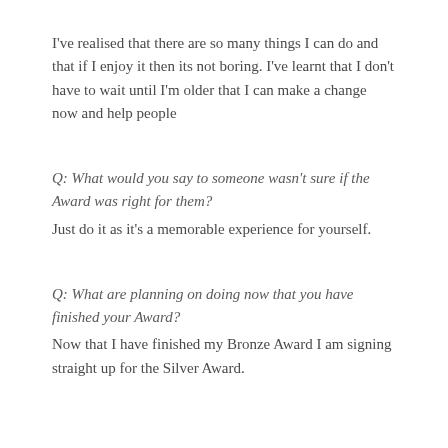I've realised that there are so many things I can do and that if I enjoy it then its not boring. I've learnt that I don't have to wait until I'm older that I can make a change now and help people
Q: What would you say to someone wasn't sure if the Award was right for them?
Just do it as it's a memorable experience for yourself.
Q: What are planning on doing now that you have finished your Award?
Now that I have finished my Bronze Award I am signing straight up for the Silver Award.